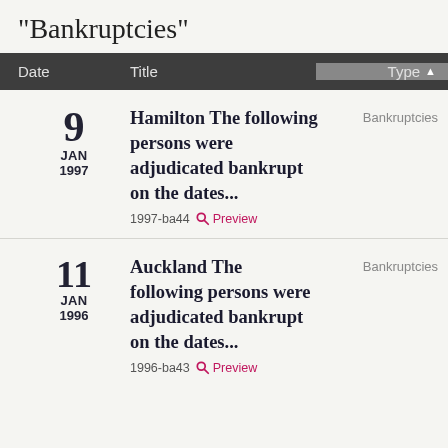"Bankruptcies"
| Date | Title | Type |
| --- | --- | --- |
| 9 JAN 1997 | Hamilton The following persons were adjudicated bankrupt on the dates...
1997-ba44 Preview | Bankruptcies |
| 11 JAN 1996 | Auckland The following persons were adjudicated bankrupt on the dates...
1996-ba43 Preview | Bankruptcies |